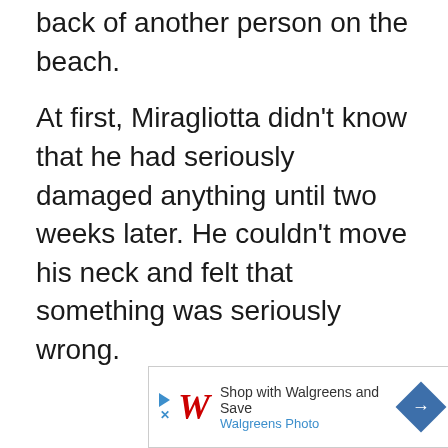back of another person on the beach.
At first, Miragliotta didn't know that he had seriously damaged anything until two weeks later. He couldn't move his neck and felt that something was seriously wrong.
[Figure (other): Walgreens advertisement banner: 'Shop with Walgreens and Save / Walgreens Photo' with Walgreens W logo and navigation arrow icon]